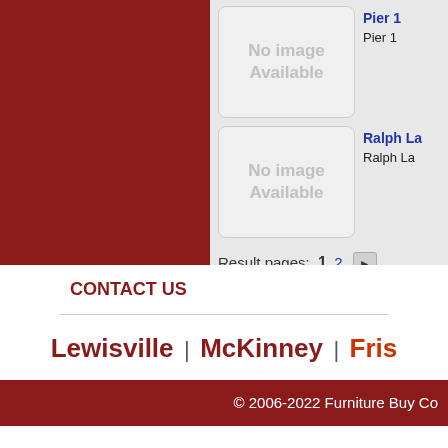[Figure (other): Dark red/maroon left panel background]
[Figure (other): No image Available placeholder box for Pier 1 product]
Pier 1
Pier 1
[Figure (other): No image Available placeholder box for Ralph La product]
Ralph La
Ralph La
Result pages: 1 2 ▶
CONTACT US
Lewisville | McKinney | Fris
© 2006-2022 Furniture Buy Co